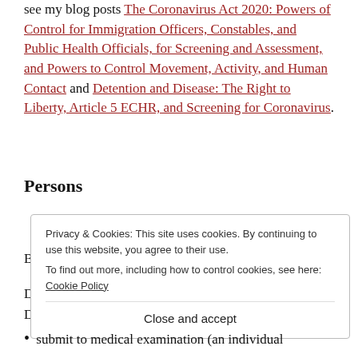see my blog posts The Coronavirus Act 2020: Powers of Control for Immigration Officers, Constables, and Public Health Officials, for Screening and Assessment, and Powers to Control Movement, Activity, and Human Contact and Detention and Disease: The Right to Liberty, Article 5 ECHR, and Screening for Coronavirus.
Persons
Privacy & Cookies: This site uses cookies. By continuing to use this website, you agree to their use. To find out more, including how to control cookies, see here: Cookie Policy
Close and accept
submit to medical examination (an individual